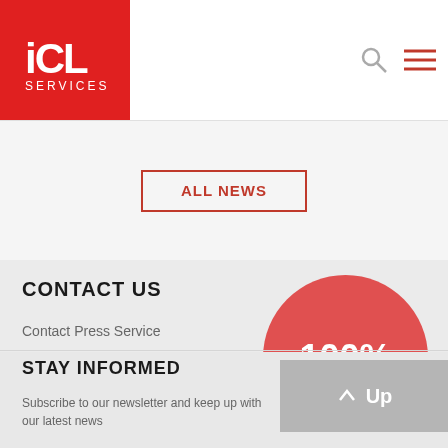ICL SERVICES
[Figure (other): ALL NEWS button - red outlined button with text ALL NEWS]
CONTACT US
Contact Press Service
Phone
+7 (843) 567-15-88
pr@icl-services.com
[Figure (other): Large red circle with white text showing 100%]
STAY INFORMED
Subscribe to our newsletter and keep up with our latest news